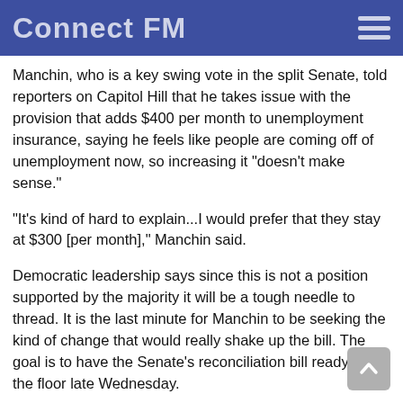Connect FM
Manchin, who is a key swing vote in the split Senate, told reporters on Capitol Hill that he takes issue with the provision that adds $400 per month to unemployment insurance, saying he feels like people are coming off of unemployment now, so increasing it “doesn’t make sense.”
“It’s kind of hard to explain...I would prefer that they stay at $300 [per month],” Manchin said.
Democratic leadership says since this is not a position supported by the majority it will be a tough needle to thread. It is the last minute for Manchin to be seeking the kind of change that would really shake up the bill. The goal is to have the Senate’s reconciliation bill ready to hit the floor late Wednesday.
Mar 02, 12:19 pm
Schumer says COVID-19 bill could be up for consideration ‘as early as tomorrow’
In floor remarks Tuesday, Senate Majority Leader Chuck